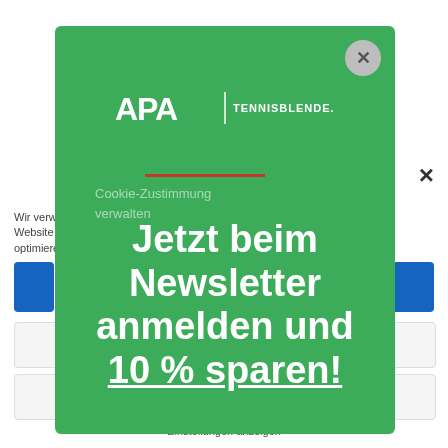×
Wir verwenden Cookies, um unsere Website und unseren Service zu optimieren.
[Figure (screenshot): Green promotional popup overlay on a cookie consent background. The popup shows APA | TENNISBLENDE.DE logo, a red divider line, faint text 'Cookie-Zustimmung verwalten', and a bold white headline: 'Jetzt beim Newsletter anmelden und 10 % sparen!' with 10% underlined. A grey circular close button is in the top-right corner. Behind the popup: an X close button, body text about cookies, blue buttons, and input fields with 'Einstellungen anzeigen' text at bottom.]
Jetzt beim Newsletter anmelden und 10 % sparen!